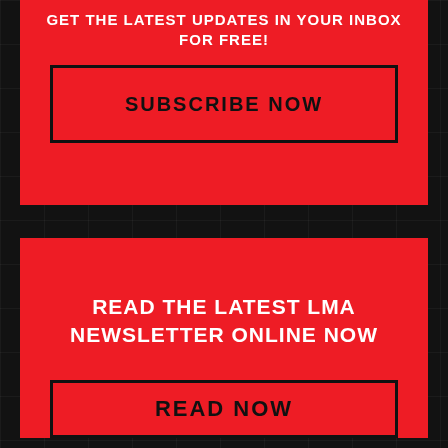GET THE LATEST UPDATES IN YOUR INBOX FOR FREE!
SUBSCRIBE NOW
READ THE LATEST LMA NEWSLETTER ONLINE NOW
READ NOW